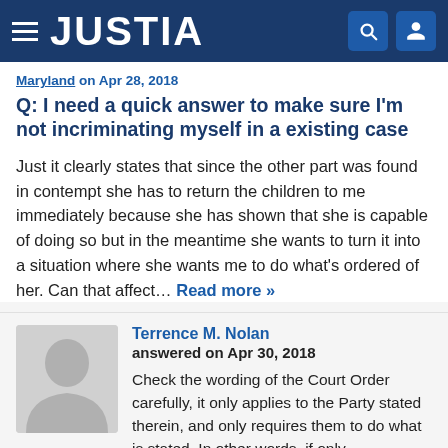JUSTIA
Maryland on Apr 28, 2018
Q: I need a quick answer to make sure I'm not incriminating myself in a existing case
Just it clearly states that since the other part was found in contempt she has to return the children to me immediately because she has shown that she is capable of doing so but in the meantime she wants to turn it into a situation where she wants me to do what's ordered of her. Can that affect… Read more »
Terrence M. Nolan
answered on Apr 30, 2018
Check the wording of the Court Order carefully, it only applies to the Party stated therein, and only requires them to do what is stated. In other words, if only